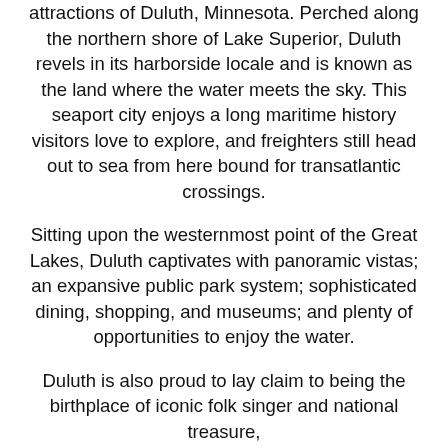attractions of Duluth, Minnesota. Perched along the northern shore of Lake Superior, Duluth revels in its harborside locale and is known as the land where the water meets the sky. This seaport city enjoys a long maritime history visitors love to explore, and freighters still head out to sea from here bound for transatlantic crossings.
Sitting upon the westernmost point of the Great Lakes, Duluth captivates with panoramic vistas; an expansive public park system; sophisticated dining, shopping, and museums; and plenty of opportunities to enjoy the water.
Duluth is also proud to lay claim to being the birthplace of iconic folk singer and national treasure,